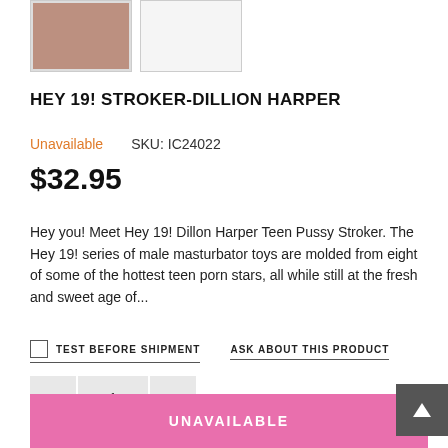[Figure (photo): Two product thumbnail images; left shows a product photo, right is blank/white]
HEY 19! STROKER-DILLION HARPER
Unavailable   SKU: IC24022
$32.95
Hey you! Meet Hey 19! Dillon Harper Teen Pussy Stroker. The Hey 19! series of male masturbator toys are molded from eight of some of the hottest teen porn stars, all while still at the fresh and sweet age of...
TEST BEFORE SHIPMENT   ASK ABOUT THIS PRODUCT
— 1 +
UNAVAILABLE